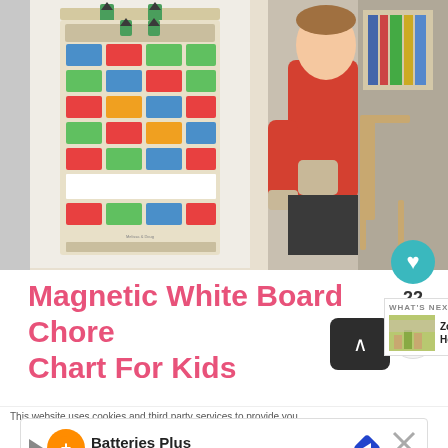[Figure (photo): A magnetic chore chart board on a wall (left) and a child in a red sweater standing next to a bookshelf (right)]
Magnetic White Board Chore Chart For Kids
This website uses cookies and third party services to provide you
[Figure (screenshot): Advertisement banner for Batteries Plus with orange circular logo, navigation arrow icon, and close button]
[Figure (screenshot): WHAT'S NEXT panel showing Zone Cleaning How To Guid... with thumbnail image]